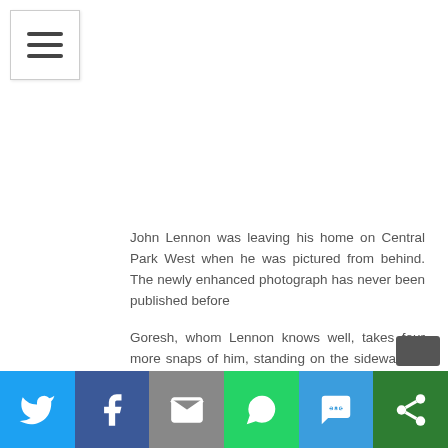[Figure (other): Hamburger menu icon button with three horizontal lines]
John Lennon was leaving his home on Central Park West when he was pictured from behind. The newly enhanced photograph has never been published before
Goresh, whom Lennon knows well, takes four more snaps of him, standing on the sidewalk, in no particular hurry before Lennon heads off to the Record Plant studios on West 48th Street. Goresh little realises he has a world scoop. For these will turn out to be the last pictures of Lennon ever taken.
[Figure (infographic): Social sharing bar at the bottom with icons for Twitter, Facebook, Email, WhatsApp, SMS, and More (share)]